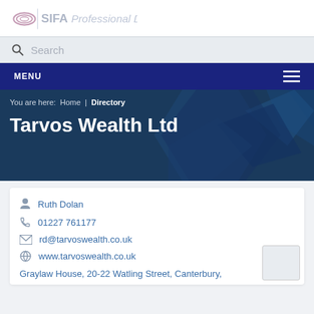SIFA Professional Directory
Search
MENU
You are here: Home | Directory
Tarvos Wealth Ltd
Ruth Dolan
01227 761177
rd@tarvoswealth.co.uk
www.tarvoswealth.co.uk
Graylaw House, 20-22 Watling Street, Canterbury,